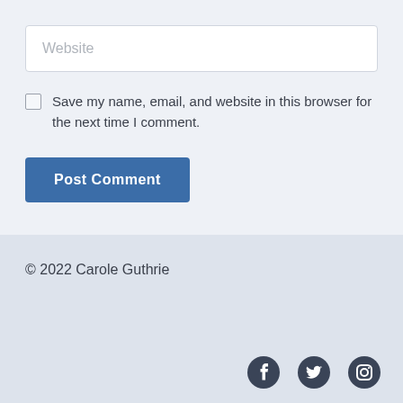Website
Save my name, email, and website in this browser for the next time I comment.
Post Comment
© 2022 Carole Guthrie
[Figure (illustration): Social media icons: Facebook, Twitter, Instagram]